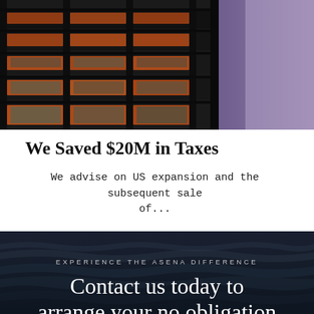[Figure (photo): Upward-angled view of a modern apartment building with orange/rust balconies and dark structural elements against a purple-tinted sky]
We Saved $20M in Taxes
We advise on US expansion and the subsequent sale of...
[Figure (photo): Dark ocean waves background with text overlay reading EXPERIENCE THE ASENA DIFFERENCE and Contact us today to arrange your no obligation]
EXPERIENCE THE ASENA DIFFERENCE
Contact us today to arrange your no obligation